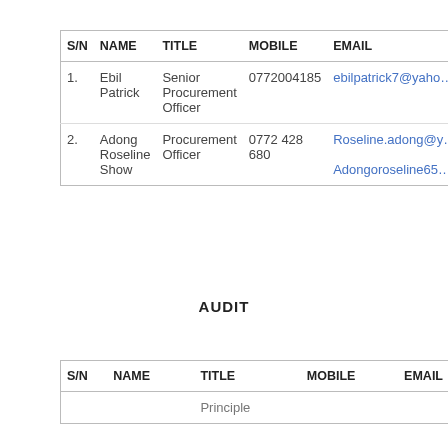| S/N | NAME | TITLE | MOBILE | EMAIL |
| --- | --- | --- | --- | --- |
| 1. | Ebil Patrick | Senior Procurement Officer | 0772004185 | ebilpatrick7@yaho... |
| 2. | Adong Roseline Show | Procurement Officer | 0772 428 680 | Roseline.adong@y...
Adongoroseline65... |
AUDIT
| S/N | NAME | TITLE | MOBILE | EMAIL |
| --- | --- | --- | --- | --- |
|  |  | Principle |  |  |